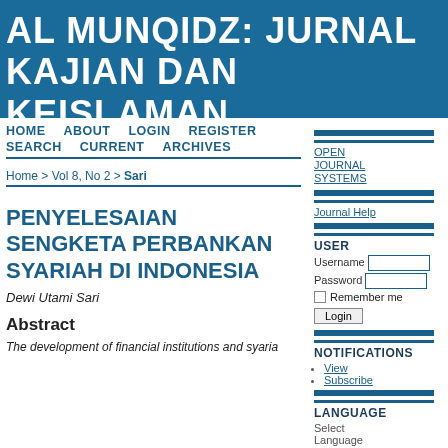AL MUNQIDZ: JURNAL KAJIAN DAN KEISLAMAN
HOME   ABOUT   LOGIN   REGISTER   SEARCH   CURRENT   ARCHIVES
Home > Vol 8, No 2 > Sari
PENYELESAIAN SENGKETA PERBANKAN SYARIAH DI INDONESIA
Dewi Utami Sari
Abstract
The development of financial institutions and syaria...